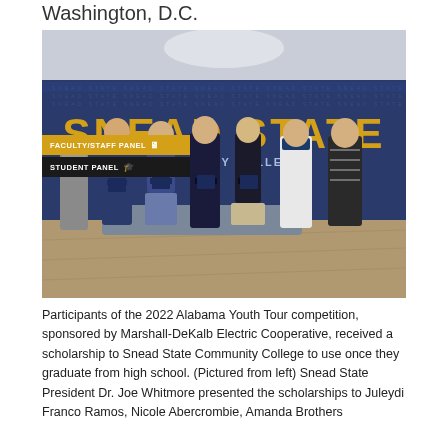Washington, D.C.
[Figure (photo): Group photo of participants of the 2022 Alabama Youth Tour competition in front of a Snead State Community College branded wall. Seven people are standing in a row holding dark blue folders/certificates. Text on wall reads 'SNEAD STATE'. Navigation overlay panels show 'FACULTY/STAFF PANEL' and 'STUDENT PANEL'.]
Participants of the 2022 Alabama Youth Tour competition, sponsored by Marshall-DeKalb Electric Cooperative, received a scholarship to Snead State Community College to use once they graduate from high school. (Pictured from left) Snead State President Dr. Joe Whitmore presented the scholarships to Juleydi Franco Ramos, Nicole Abercrombie, Amanda Brothers